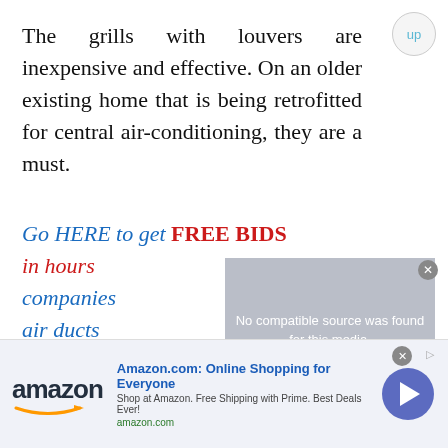The grills with louvers are inexpensive and effective. On an older existing home that is being retrofitted for central air-conditioning, they are a must.
Go HERE to get FREE BIDS in hours companies air ducts home.
[Figure (screenshot): Video player overlay showing 'No compatible source was found for this media.' with a large X icon, close button in top-right corner]
Do Old H Rackwa
[Figure (screenshot): Amazon advertisement banner: 'Amazon.com: Online Shopping for Everyone', 'Shop at Amazon. Free Shipping with Prime. Best Deals Ever!', amazon.com domain, Amazon logo, play button circle]